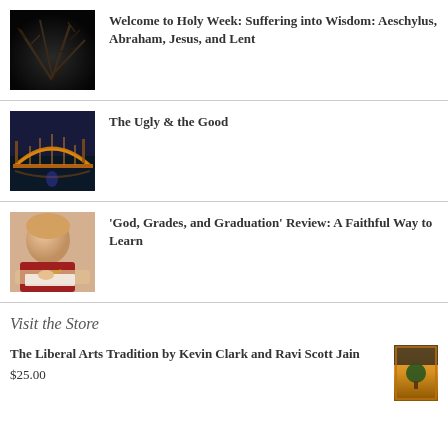[Figure (photo): Crown of thorns dark background photo]
Welcome to Holy Week: Suffering into Wisdom: Aeschylus, Abraham, Jesus, and Lent
[Figure (photo): Illuminated bridge at night reflected in water]
The Ugly & the Good
[Figure (photo): Child writing or drawing, close-up]
'God, Grades, and Graduation' Review: A Faithful Way to Learn
Visit the Store
The Liberal Arts Tradition by Kevin Clark and Ravi Scott Jain
[Figure (photo): Book cover for The Liberal Arts Tradition]
$25.00